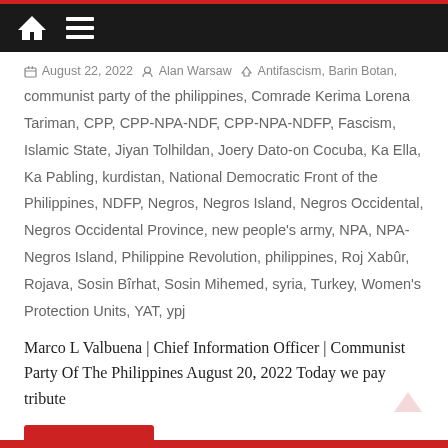Home | Menu
August 22, 2022  Alan Warsaw  Antifascism, Barin Botan, communist party of the philippines, Comrade Kerima Lorena Tariman, CPP, CPP-NPA-NDF, CPP-NPA-NDFP, Fascism, Islamic State, Jiyan Tolhildan, Joery Dato-on Cocuba, Ka Ella, Ka Pabling, kurdistan, National Democratic Front of the Philippines, NDFP, Negros, Negros Island, Negros Occidental, Negros Occidental Province, new people's army, NPA, NPA-Negros Island, Philippine Revolution, philippines, Roj Xabûr, Rojava, Sosin Bîrhat, Sosin Mihemed, syria, Turkey, Women's Protection Units, YAT, ypj
Marco L Valbuena | Chief Information Officer | Communist Party Of The Philippines August 20, 2022 Today we pay tribute
Read more